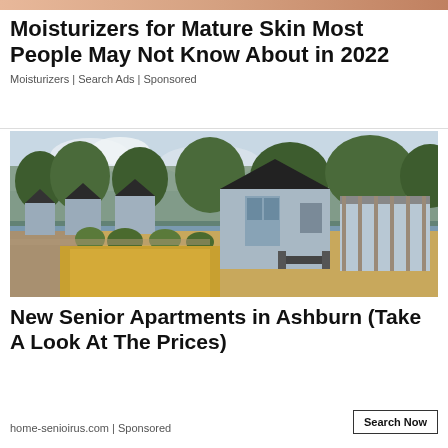[Figure (photo): Top banner with skin-tone gradient/image strip at very top of page]
Moisturizers for Mature Skin Most People May Not Know About in 2022
Moisturizers | Search Ads | Sponsored
[Figure (photo): Photograph of a row of small modern blue/grey cabin-style senior apartments with white trim, green shrubs, and golden grass in foreground]
New Senior Apartments in Ashburn (Take A Look At The Prices)
home-senioirus.com | Sponsored
Search Now